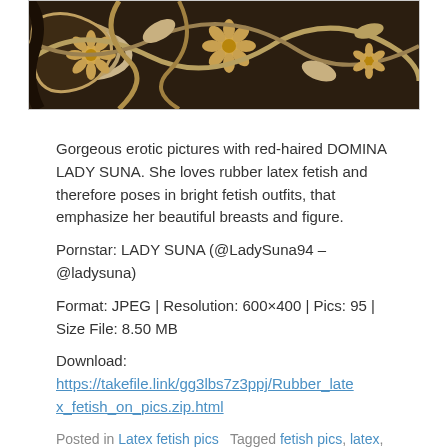[Figure (photo): Close-up photo of decorative dark fabric or textile with floral and scroll patterns in beige/tan tones on dark background]
Gorgeous erotic pictures with red-haired DOMINA LADY SUNA. She loves rubber latex fetish and therefore poses in bright fetish outfits, that emphasize her beautiful breasts and figure.
Pornstar: LADY SUNA (@LadySuna94 – @ladysuna)
Format: JPEG | Resolution: 600×400 | Pics: 95 | Size File: 8.50 MB
Download: https://takefile.link/gg3lbs7z3ppj/Rubber_latex_fetish_on_pics.zip.html
Posted in Latex fetish pics   Tagged fetish pics, latex, latex clothing, Latex Fetish, red hair girl, Redhead Milf Big Tits, sexy